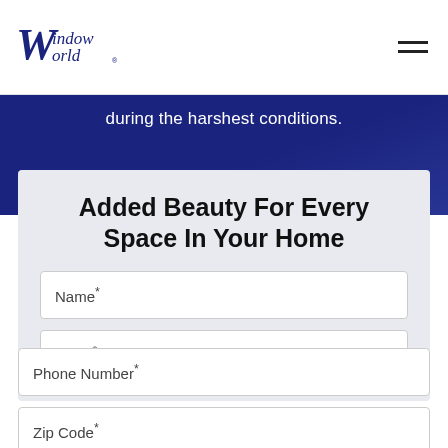Window World
during the harshest conditions.
Added Beauty For Every Space In Your Home
Name*
Email*
Phone Number*
Zip Code*